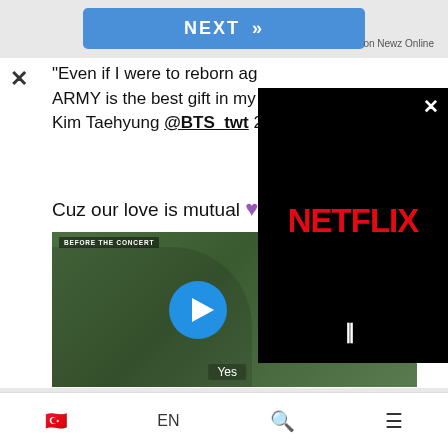[Figure (screenshot): NEXT button with double chevron arrows in blue, navigation button for Newz Online]
on Newz Online
"Even if I were to reborn aga... ARMY is the best gift in my ... Kim Taehyung @BTS_twt 2...
Cuz our love is mutual 💜
[Figure (screenshot): Video thumbnail showing a woman wearing a black beret at a concert venue labeled BEFORE THE CONCERT, with a blue play button in center and Yes subtitle at bottom]
[Figure (screenshot): Netflix logo on black background overlay with pause button and close X]
🇹🇷  EN  🔍  ☰